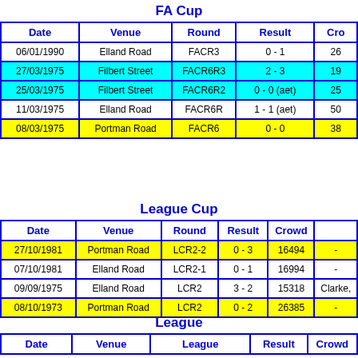FA Cup
| Date | Venue | Round | Result | Cro... |
| --- | --- | --- | --- | --- |
| 06/01/1990 | Elland Road | FACR3 | 0 - 1 | 26... |
| 27/03/1975 | Filbert Street | FACR6R3 | 2 - 3 | 19... |
| 25/03/1975 | Filbert Street | FACR6R2 | 0 - 0 (aet) | 25... |
| 11/03/1975 | Elland Road | FACR6R | 1 - 1 (aet) | 50... |
| 08/03/1975 | Portman Road | FACR6 | 0 - 0 | 38... |
League Cup
| Date | Venue | Round | Result | Crowd |  |
| --- | --- | --- | --- | --- | --- |
| 27/10/1981 | Portman Road | LCR2-2 | 0 - 3 | 16494 | - |
| 07/10/1981 | Elland Road | LCR2-1 | 0 - 1 | 16994 | - |
| 09/09/1975 | Elland Road | LCR2 | 3 - 2 | 15318 | Clarke, |
| 08/10/1973 | Portman Road | LCR2 | 0 - 2 | 26385 | - |
League
| Date | Venue | League | Result | Crowd |
| --- | --- | --- | --- | --- |